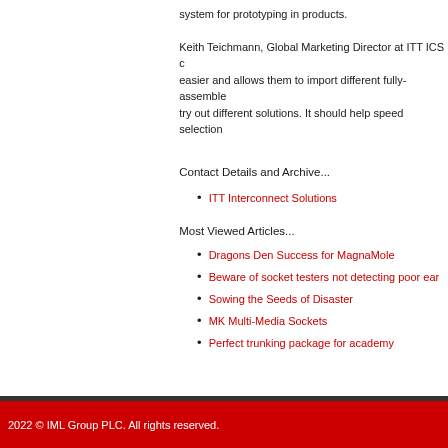system for prototyping in products.
Keith Teichmann, Global Marketing Director at ITT ICS c easier and allows them to import different fully-assembled try out different solutions. It should help speed selection
Contact Details and Archive...
ITT Interconnect Solutions
Most Viewed Articles...
Dragons Den Success for MagnaMole
Beware of socket testers not detecting poor ear
Sowing the Seeds of Disaster
MK Multi-Media Sockets
Perfect trunking package for academy
2022 © IML Group PLC. All rights reserved.